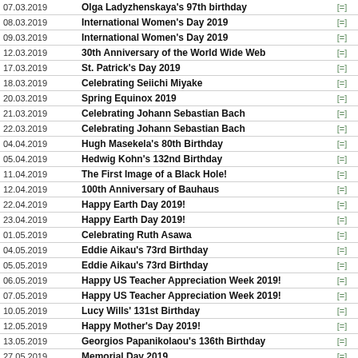| Date | Title |  |
| --- | --- | --- |
| 07.03.2019 | Olga Ladyzhenskaya's 97th birthday | [=] |
| 08.03.2019 | International Women's Day 2019 | [=] |
| 09.03.2019 | International Women's Day 2019 | [=] |
| 12.03.2019 | 30th Anniversary of the World Wide Web | [=] |
| 17.03.2019 | St. Patrick's Day 2019 | [=] |
| 18.03.2019 | Celebrating Seiichi Miyake | [=] |
| 20.03.2019 | Spring Equinox 2019 | [=] |
| 21.03.2019 | Celebrating Johann Sebastian Bach | [=] |
| 22.03.2019 | Celebrating Johann Sebastian Bach | [=] |
| 04.04.2019 | Hugh Masekela's 80th Birthday | [=] |
| 05.04.2019 | Hedwig Kohn's 132nd Birthday | [=] |
| 11.04.2019 | The First Image of a Black Hole! | [=] |
| 12.04.2019 | 100th Anniversary of Bauhaus | [=] |
| 22.04.2019 | Happy Earth Day 2019! | [=] |
| 23.04.2019 | Happy Earth Day 2019! | [=] |
| 01.05.2019 | Celebrating Ruth Asawa | [=] |
| 04.05.2019 | Eddie Aikau's 73rd Birthday | [=] |
| 05.05.2019 | Eddie Aikau's 73rd Birthday | [=] |
| 06.05.2019 | Happy US Teacher Appreciation Week 2019! | [=] |
| 07.05.2019 | Happy US Teacher Appreciation Week 2019! | [=] |
| 10.05.2019 | Lucy Wills' 131st Birthday | [=] |
| 12.05.2019 | Happy Mother's Day 2019! | [=] |
| 13.05.2019 | Georgios Papanikolaou's 136th Birthday | [=] |
| 27.05.2019 | Memorial Day 2019 | [=] |
| 28.05.2019 | Memorial Day 2019 | [=] |
| 04.06.2019 | Celebrating 50 Years Of Pride | [=] |
| 05.06.2019 | Elena Cornaro Piscopia's 373rd Birthday | [=] |
| 07.06.2019 | Women's World Cup 2019 - Day 1 | [=] |